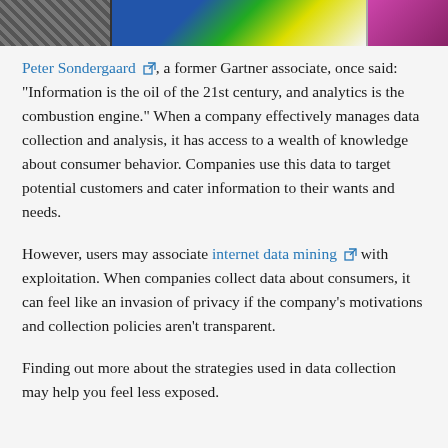[Figure (photo): Partial image strip at top of page showing segments: grayscale/textured left section, colorful middle section with blue/green/yellow gradients, and purple/pink right section]
Peter Sondergaard [external link], a former Gartner associate, once said: "Information is the oil of the 21st century, and analytics is the combustion engine." When a company effectively manages data collection and analysis, it has access to a wealth of knowledge about consumer behavior. Companies use this data to target potential customers and cater information to their wants and needs.
However, users may associate internet data mining [external link] with exploitation. When companies collect data about consumers, it can feel like an invasion of privacy if the company's motivations and collection policies aren't transparent.
Finding out more about the strategies used in data collection may help you feel less exposed.